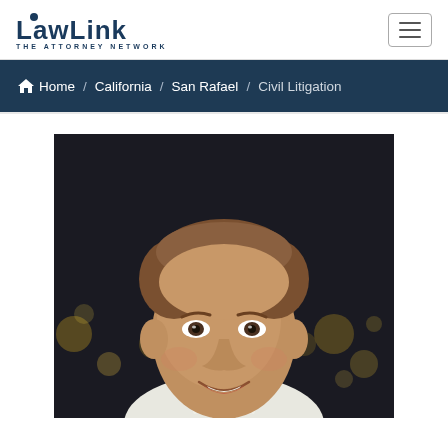[Figure (logo): LawLink - The Attorney Network logo in dark navy blue]
[Figure (other): Hamburger menu button (three horizontal lines) in a bordered box]
Home / California / San Rafael / Civil Litigation
[Figure (photo): Headshot photo of a smiling young man with brown hair wearing a white shirt and green tie, with blurred bokeh lights in background]